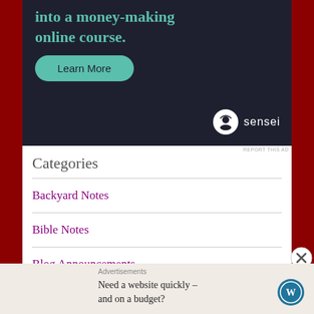[Figure (screenshot): Dark-themed advertisement banner for 'sensei' online course platform. Teal text reads 'into a money-making online course.' with a teal 'Learn More' rounded button and sensei logo at bottom right.]
REPORT THIS AD
Categories
Backyard Notes
Bible Notes
Blog Announcements
[Figure (screenshot): Bottom advertisement bar with WordPress logo. Text reads 'Advertisements' then 'Need a website quickly – and on a budget?' with WordPress circular logo on right.]